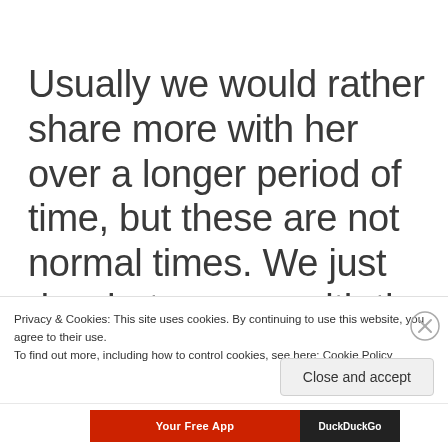Usually we would rather share more with her over a longer period of time, but these are not normal times. We just do what we can with the appointments the
Privacy & Cookies: This site uses cookies. By continuing to use this website, you agree to their use.
To find out more, including how to control cookies, see here: Cookie Policy
Close and accept